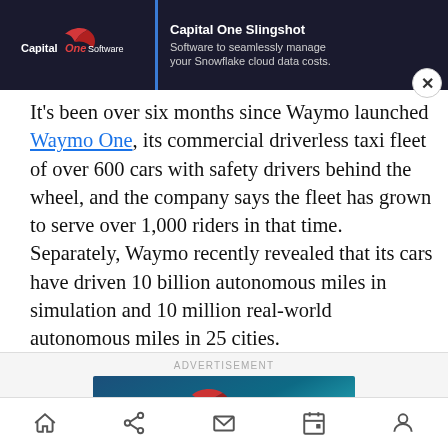[Figure (screenshot): Capital One Software advertisement banner at top of page with logo, divider, and text: 'Capital One Slingshot – Software to seamlessly manage your Snowflake cloud data costs.' with a close button.]
It's been over six months since Waymo launched Waymo One, its commercial driverless taxi fleet of over 600 cars with safety drivers behind the wheel, and the company says the fleet has grown to serve over 1,000 riders in that time. Separately, Waymo recently revealed that its cars have driven 10 billion autonomous miles in simulation and 10 million real-world autonomous miles in 25 cities.
[Figure (screenshot): Bottom advertisement banner labeled 'ADVERTISEMENT' with Capital One Software logo on a dark teal/blue gradient background.]
[Figure (screenshot): Mobile navigation bar at bottom with home, share, mail, calendar, and profile icons.]